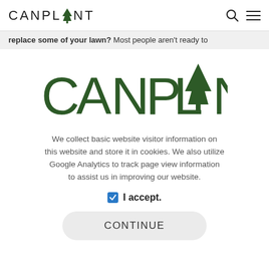CANPLANT (logo with tree icon) — search and menu icons
replace some of your lawn? Most people aren't ready to
[Figure (logo): CANPLANT logo with a large green conifer tree replacing the letter A, in dark green color]
We collect basic website visitor information on this website and store it in cookies. We also utilize Google Analytics to track page view information to assist us in improving our website.
✓ I accept.
CONTINUE